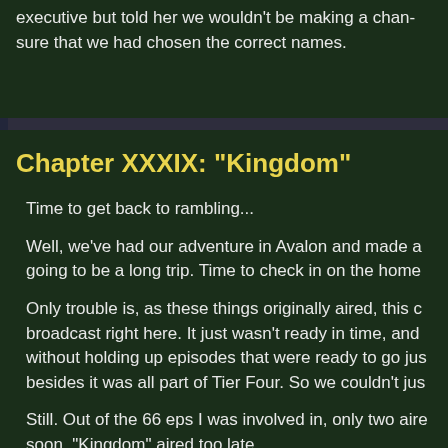executive but told her we wouldn't be making a change but to make sure that we had chosen the correct names.
Chapter XXXIX: "Kingdom"
Time to get back to rambling...
Well, we've had our adventure in Avalon and made a going to be a long trip. Time to check in on the home
Only trouble is, as these things originally aired, this c broadcast right here. It just wasn't ready in time, and without holding up episodes that were ready to go jus besides it was all part of Tier Four. So we couldn't jus
Still. Out of the 66 eps I was involved in, only two aire soon. "Kingdom" aired too late.
Hope it didn't screw too much with your sense of con
Oh, by the way, Kingdom was
Directed by Bob Kline